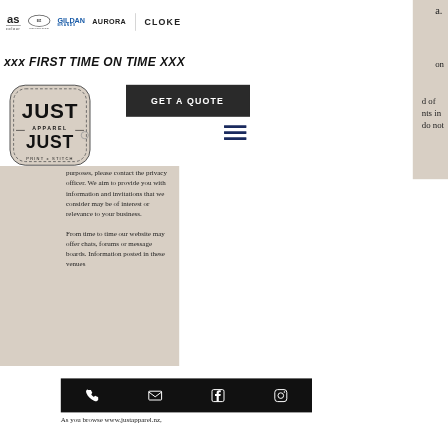[Figure (logo): Row of brand logos: AS Colour, Biz Collection, Gildan Brands, Aurora, Cloke]
xxx FIRST TIME ON TIME XXX
[Figure (logo): Just Apparel - Print x Stitch logo in a stitched badge shape]
[Figure (other): GET A QUOTE dark button]
[Figure (other): Hamburger menu icon (three horizontal lines)]
purposes, please contact the privacy officer. We aim to provide you with information and invitations that we consider may be of interest or relevance to your business.
From time to time our website may offer chats, forums or message boards. Information posted in these venues
[Figure (other): Black footer bar with phone, email, Facebook, and Instagram icons]
As you browse www.justapparel.nz,